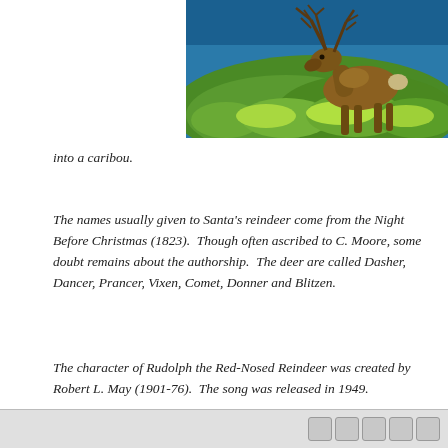[Figure (photo): A reindeer/caribou standing on green tundra vegetation with water visible in the background. The animal has large antlers and is photographed in natural outdoor lighting.]
into a caribou.
The names usually given to Santa's reindeer come from the Night Before Christmas (1823).  Though often ascribed to C. Moore, some doubt remains about the authorship.  The deer are called Dasher, Dancer, Prancer, Vixen, Comet, Donner and Blitzen.
The character of Rudolph the Red-Nosed Reindeer was created by Robert L. May (1901-76).  The song was released in 1949.